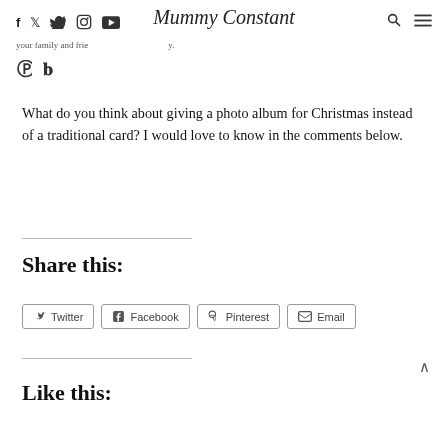Social icons: f, Twitter, Instagram, YouTube | Mummy Constant (blog title) | Search, Menu
your family and frie… y.
What do you think about giving a photo album for Christmas instead of a traditional card? I would love to know in the comments below.
Share this:
Twitter | Facebook | Pinterest | Email
Like this: